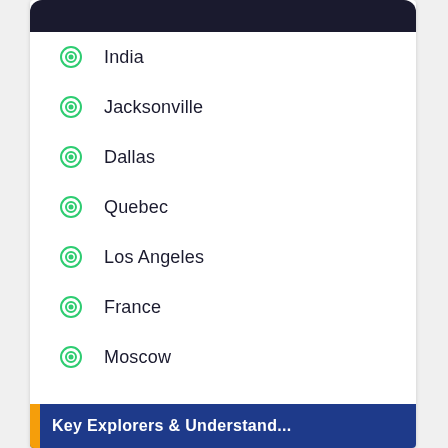[Figure (screenshot): Dark rounded top bar of a mobile UI card]
India
Jacksonville
Dallas
Quebec
Los Angeles
France
Moscow
[Figure (screenshot): Blue banner with orange accent and partial white text at bottom of card]